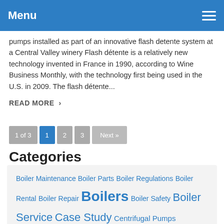Menu
pumps installed as part of an innovative flash detente system at a Central Valley winery Flash détente is a relatively new technology invented in France in 1990, according to Wine Business Monthly, with the technology first being used in the U.S. in 2009. The flash détente...
READ MORE ›
1 of 3  1  2  3  Next »
Categories
Boiler Maintenance  Boiler Parts  Boiler Regulations  Boiler Rental  Boiler Repair  Boilers  Boiler Safety  Boiler Service  Case Study  Centrifugal Pumps  Commercial Boilers  Commercial Pumps  Company